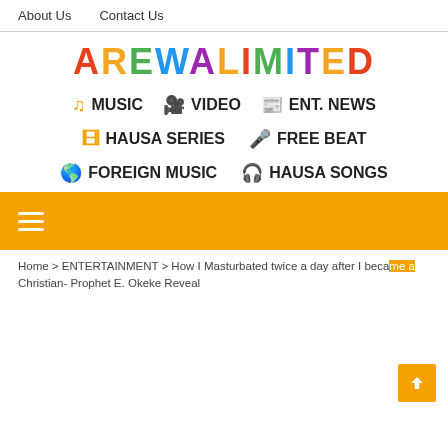About Us   Contact Us
[Figure (logo): AREWALIMITED colorful logo text with each letter in different colors (orange, yellow, green, blue, purple)]
MUSIC
VIDEO
ENT. NEWS
HAUSA SERIES
FREE BEAT
FOREIGN MUSIC
HAUSA SONGS
Home > ENTERTAINMENT > How I Masturbated twice a day after I became a Christian- Prophet E. Okeke Reveal